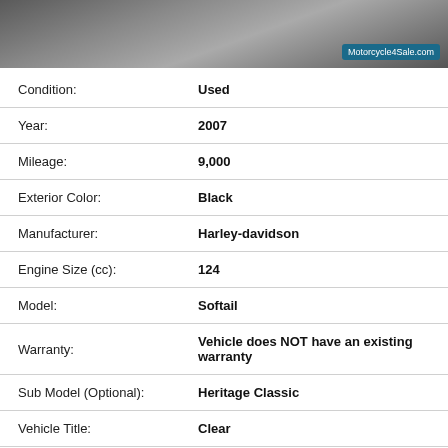[Figure (photo): Partial motorcycle photo strip showing wheel and handlebars with Motorcycle4Sale.com logo badge in top-right corner]
| Field | Value |
| --- | --- |
| Condition: | Used |
| Year: | 2007 |
| Mileage: | 9,000 |
| Exterior Color: | Black |
| Manufacturer: | Harley-davidson |
| Engine Size (cc): | 124 |
| Model: | Softail |
| Warranty: | Vehicle does NOT have an existing warranty |
| Sub Model (Optional): | Heritage Classic |
| Vehicle Title: | Clear |